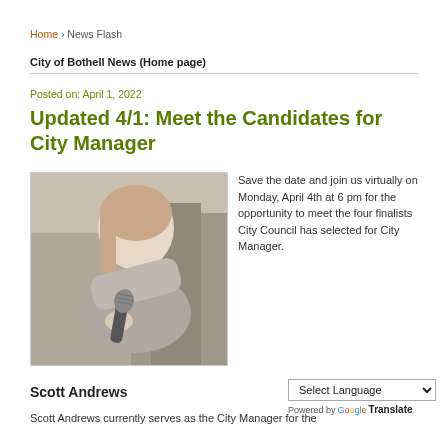Home › News Flash
City of Bothell News (Home page)
Posted on: April 1, 2022
Updated 4/1: Meet the Candidates for City Manager
[Figure (photo): Woman smiling and holding a microphone toward the camera]
Save the date and join us virtually on Monday, April 4th at 6 pm for the opportunity to meet the four finalists City Council has selected for City Manager.
Scott Andrews
Scott Andrews currently serves as the City Manager for the